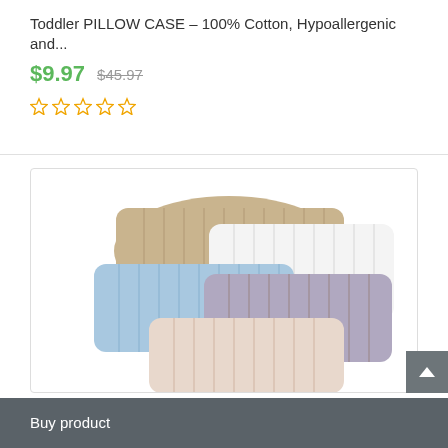Toddler PILLOW CASE – 100% Cotton, Hypoallergenic and...
$9.97  $45.97
[Figure (photo): Five striped pillow cases in different colors: beige/tan, white, light blue, lavender/grey, and pink/blush, arranged in an overlapping display on white background.]
Buy product